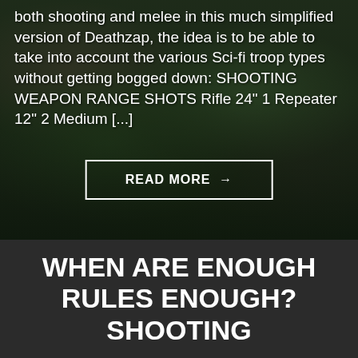[Figure (photo): Dark background image showing miniature wargaming figures (appear to be frog/alien sci-fi troops) on a gaming terrain with grass and rocks, overlaid with dark tint.]
both shooting and melee in this much simplified version of Deathzap, the idea is to be able to take into account the various Sci-fi troop types without getting bogged down: SHOOTING WEAPON RANGE SHOTS Rifle 24" 1 Repeater 12" 2 Medium [...]
READ MORE →
WHEN ARE ENOUGH RULES ENOUGH? SHOOTING